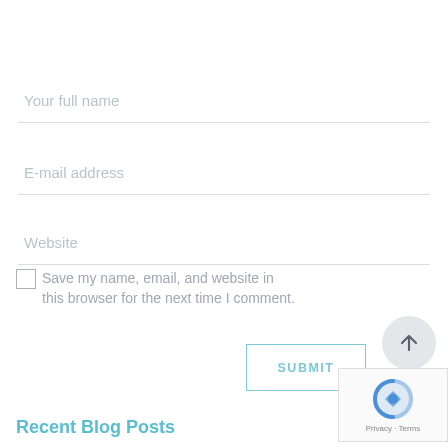Your full name
E-mail address
Website
Save my name, email, and website in this browser for the next time I comment.
SUBMIT
[Figure (logo): Google reCAPTCHA badge with logo and Privacy - Terms text]
Recent Blog Posts